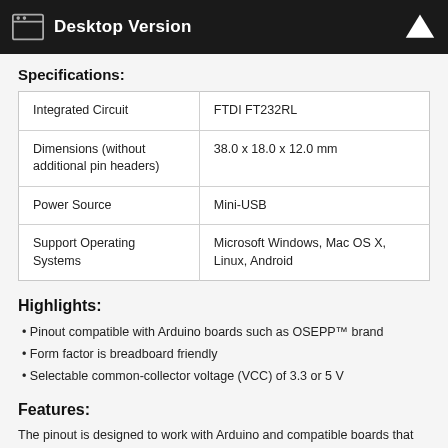Desktop Version
Specifications:
|  |  |
| --- | --- |
| Integrated Circuit | FTDI FT232RL |
| Dimensions (without additional pin headers) | 38.0 x 18.0 x 12.0 mm |
| Power Source | Mini-USB |
| Support Operating Systems | Microsoft Windows, Mac OS X, Linux, Android |
Highlights:
Pinout compatible with Arduino boards such as OSEPP™ brand
Form factor is breadboard friendly
Selectable common-collector voltage (VCC) of 3.3 or 5 V
Features:
The pinout is designed to work with Arduino and compatible boards that do not have a built-in USB-to-serial converter, such as the Pro and Pro Mini.